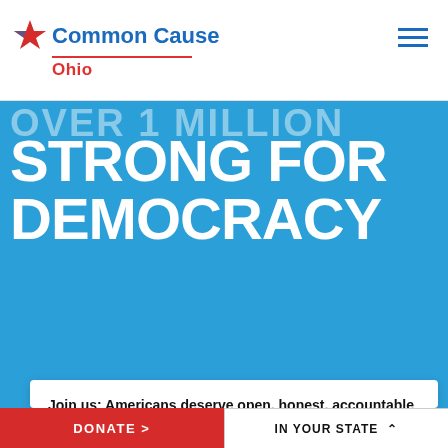Common Cause Ohio
[Figure (logo): Common Cause logo with blue star and text, Ohio chapter label in red]
OVER 1 MILLION STRONG FOR DEMOCRACY
Join us: Americans deserve open, honest, accountable government.
Email *
Zip/Postal Code
DONATE > | IN YOUR STATE ^